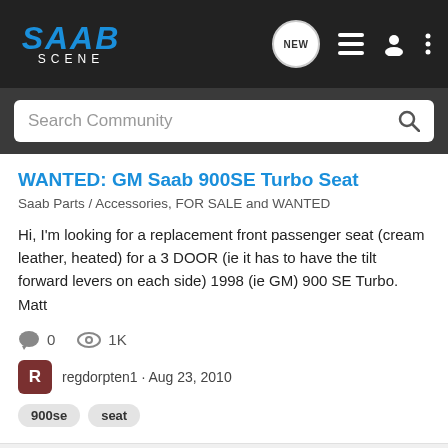SAAB SCENE
Search Community
WANTED: GM Saab 900SE Turbo Seat
Saab Parts / Accessories, FOR SALE and WANTED
Hi, I'm looking for a replacement front passenger seat (cream leather, heated) for a 3 DOOR (ie it has to have the tilt forward levers on each side) 1998 (ie GM) 900 SE Turbo. Matt
0  1K
regdorpten1 · Aug 23, 2010
900se  seat
K reg Saab 900SE LPT 5 door Red for sale
Previous model ranges, FOR SALE and WANTED